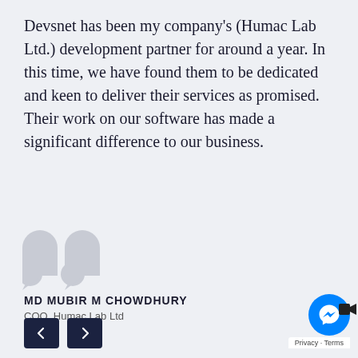Devsnet has been my company's (Humac Lab Ltd.) development partner for around a year. In this time, we have found them to be dedicated and keen to deliver their services as promised. Their work on our software has made a significant difference to our business.
[Figure (illustration): Large grey closing double quotation marks decorative element]
MD MUBIR M CHOWDHURY
COO, Humac Lab Ltd
[Figure (other): Navigation arrows: left arrow button and right arrow button, dark navy background]
[Figure (other): Facebook Messenger chat widget bubble with video camera icon and Privacy - Terms label]